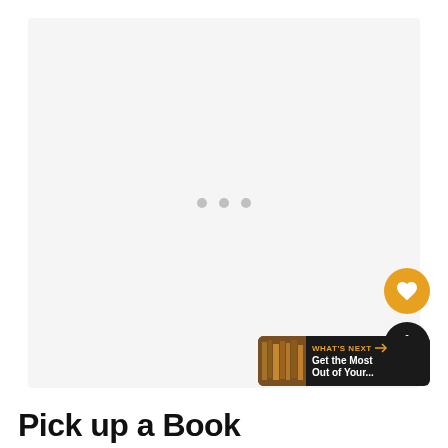[Figure (screenshot): Loading screen with three grey dots centered on a light grey background panel, with a heart/like button (orange circle), a share button (dark circle with count 1), and a 'WHAT'S NEXT' banner in the bottom right corner]
Pick up a Book